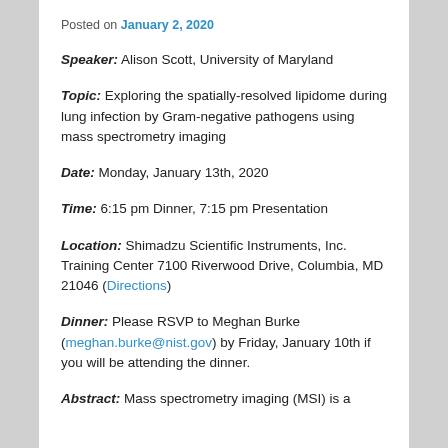Posted on January 2, 2020
Speaker: Alison Scott, University of Maryland
Topic: Exploring the spatially-resolved lipidome during lung infection by Gram-negative pathogens using mass spectrometry imaging
Date: Monday, January 13th, 2020
Time: 6:15 pm Dinner, 7:15 pm Presentation
Location: Shimadzu Scientific Instruments, Inc. Training Center 7100 Riverwood Drive, Columbia, MD 21046 (Directions)
Dinner: Please RSVP to Meghan Burke (meghan.burke@nist.gov) by Friday, January 10th if you will be attending the dinner.
Abstract: Mass spectrometry imaging (MSI) is a